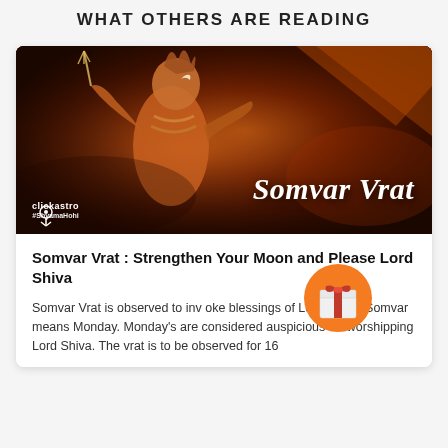WHAT OTHERS ARE READING
[Figure (photo): Promotional card with an image of Lord Shiva in orange tones with the text 'Somvar Vrat' overlaid, and the Clickastro logo in the bottom left.]
Somvar Vrat : Strengthen Your Moon and Please Lord Shiva
Somvar Vrat is observed to invoke blessings of Lord Shiva. Somvar means Monday. Mondays are considered auspicious for worshipping Lord Shiva. The vrat is to be observed for 16